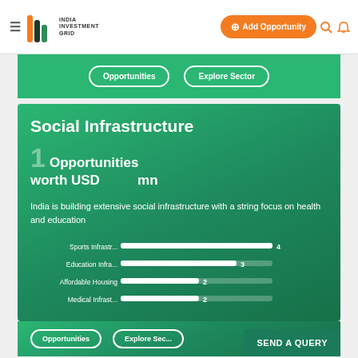IIG India Investment Grid — Add Opportunity
[Figure (screenshot): IIG India Investment Grid website header with logo, Add Opportunity button, search and notification icons]
Opportunities | Explore Sector
Social Infrastructure
1 Opportunities worth USD mn
India is building extensive social infrastructure with a string focus on health and education
[Figure (bar-chart): Social Infrastructure Opportunities by Category]
Opportunities | Explore Sec...
SEND A QUERY